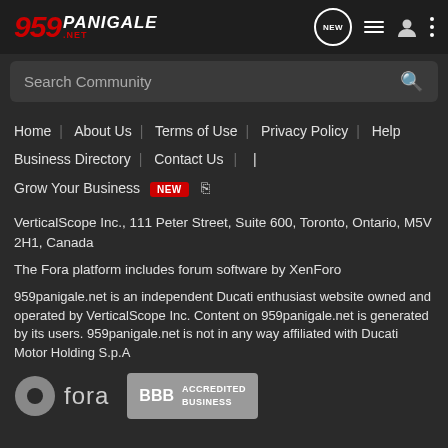959panigale.net header with logo and navigation icons
[Figure (screenshot): Search Community search bar with magnifying glass icon]
Home | About Us | Terms of Use | Privacy Policy | Help | Business Directory | Contact Us | | Grow Your Business NEW (RSS)
VerticalScope Inc., 111 Peter Street, Suite 600, Toronto, Ontario, M5V 2H1, Canada
The Fora platform includes forum software by XenForo
959panigale.net is an independent Ducati enthusiast website owned and operated by VerticalScope Inc. Content on 959panigale.net is generated by its users. 959panigale.net is not in any way affiliated with Ducati Motor Holding S.p.A
[Figure (logo): Fora logo with partial circle icon and 'fora' text]
[Figure (logo): BBB Accredited Business badge]